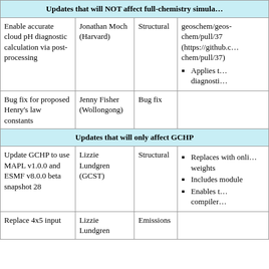| Update | Contributor | Type | Notes |
| --- | --- | --- | --- |
| Updates that will NOT affect full-chemistry simula… |  |  |  |
| Enable accurate cloud pH diagnostic calculation via post-processing | Jonathan Moch (Harvard) | Structural | geoschem/geos-chem/pull/37
• Applies to diagnostic… |
| Bug fix for proposed Henry's law constants | Jenny Fisher (Wollongong) | Bug fix |  |
| Updates that will only affect GCHP |  |  |  |
| Update GCHP to use MAPL v1.0.0 and ESMF v8.0.0 beta snapshot 28 | Lizzie Lundgren (GCST) | Structural | • Replaces with online weights
• Includes module
• Enables compiler… |
| Replace 4x5 input | Lizzie Lundgren | Emissions |  |